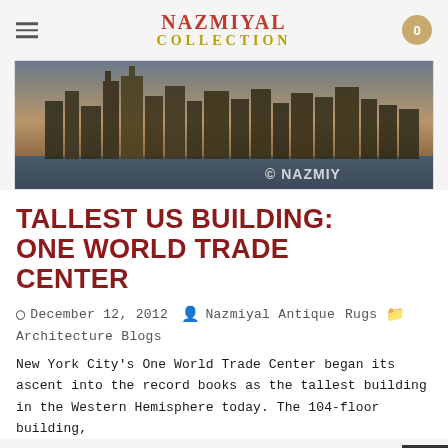Nazmiyal Collection
[Figure (photo): Panoramic cityscape photo of New York City skyline at golden hour, with watermark © NAZMIY visible in lower right corner]
TALLEST US BUILDING: ONE WORLD TRADE CENTER
December 12, 2012  Nazmiyal Antique Rugs  Architecture Blogs
New York City's One World Trade Center began its ascent into the record books as the tallest building in the Western Hemisphere today. The 104-floor building,